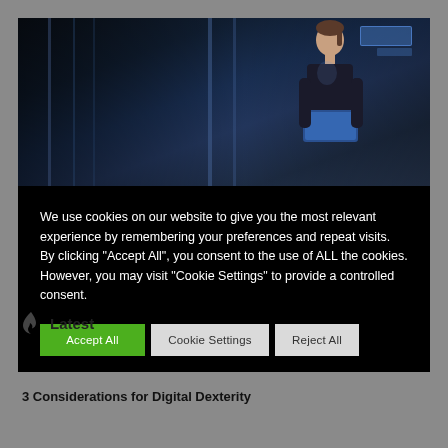[Figure (photo): Dark photo of a woman working in a data center or server room, lit by blue ambient light, looking at a laptop or device. She is standing between server racks.]
We use cookies on our website to give you the most relevant experience by remembering your preferences and repeat visits. By clicking “Accept All”, you consent to the use of ALL the cookies. However, you may visit “Cookie Settings” to provide a controlled consent.
Latest
3 Considerations for Digital Dexterity